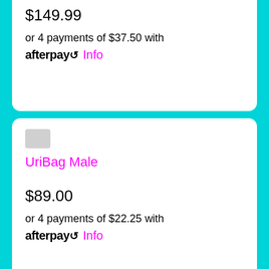$149.99
or 4 payments of $37.50 with afterpay Info
UriBag Male
$89.00
or 4 payments of $22.25 with afterpay Info